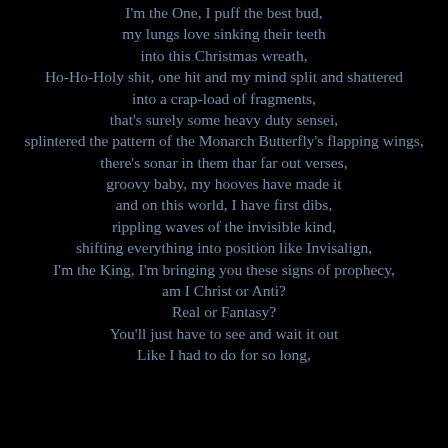I'm the One, I puff the best bud,
my lungs love sinking their teeth
into this Christmas wreath,
Ho-Ho-Holy shit, one hit and my mind split and shattered
into a crap-load of fragments,
that's surely some heavy duty sensei,
splintered the pattern of the Monarch Butterfly's flapping wings,
there's sonar in them thar far out verses,
groovy baby, my hooves have made it
and on this world, I have first dibs,
rippling waves of the invisible kind,
shifting everything into position like Invisalign,
I'm the King, I'm bringing you these signs of prophecy,
am I Christ or Anti?
Real or Fantasy?
You'll just have to see and wait it out
Like I had to do for so long,